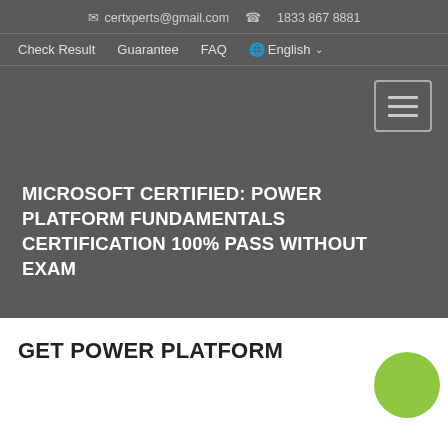✉ certxperts@gmail.com  📞 1833 867 8881
Check Result   Guarantee   FAQ   🌐 English ∨
[Figure (other): Hamburger menu toggle button (three horizontal lines icon)]
MICROSOFT CERTIFIED: POWER PLATFORM FUNDAMENTALS CERTIFICATION 100% PASS WITHOUT EXAM
GET POWER PLATFORM